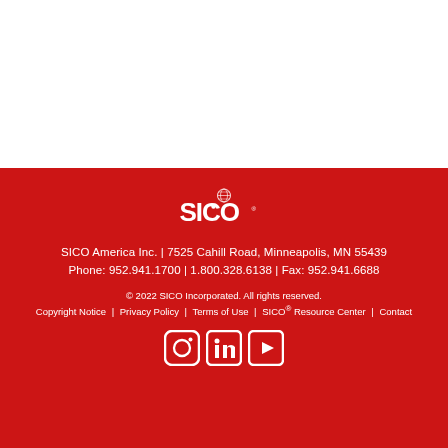[Figure (logo): SICO logo with globe icon on red background]
SICO America Inc. | 7525 Cahill Road, Minneapolis, MN 55439
Phone: 952.941.1700 | 1.800.328.6138 | Fax: 952.941.6688
© 2022 SICO Incorporated. All rights reserved. Copyright Notice | Privacy Policy | Terms of Use | SICO® Resource Center | Contact
[Figure (other): Social media icons: Instagram, LinkedIn, YouTube]